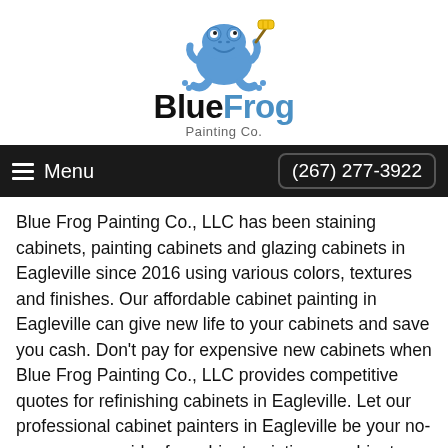[Figure (logo): Blue Frog Painting Co. logo with cartoon blue frog holding a paint roller, text reads 'Blue Frog Painting Co.']
Menu    (267) 277-3922
Blue Frog Painting Co., LLC has been staining cabinets, painting cabinets and glazing cabinets in Eagleville since 2016 using various colors, textures and finishes. Our affordable cabinet painting in Eagleville can give new life to your cabinets and save you cash. Don't pay for expensive new cabinets when Blue Frog Painting Co., LLC provides competitive quotes for refinishing cabinets in Eagleville. Let our professional cabinet painters in Eagleville be your no-nonsense provider for cabinet painting or cabinet staining in Eagleville.
Need a Kitchen Cabinet Makeover in